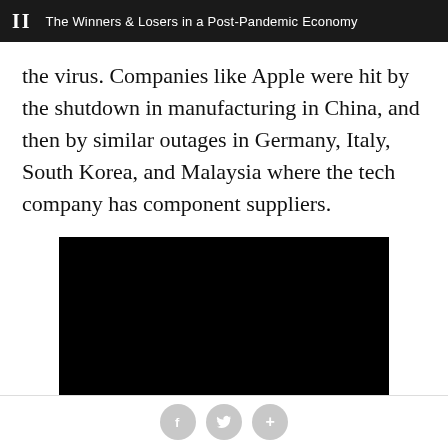II  The Winners & Losers in a Post-Pandemic Economy
the virus. Companies like Apple were hit by the shutdown in manufacturing in China, and then by similar outages in Germany, Italy, South Korea, and Malaysia where the tech company has component suppliers.
[Figure (photo): Black rectangle representing an embedded video or image placeholder]
Social sharing buttons: Facebook, Twitter, Plus